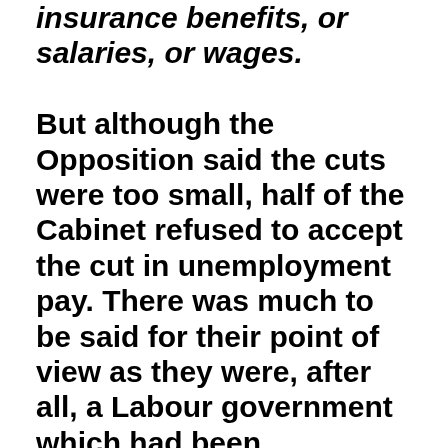insurance benefits, or salaries, or wages. But although the Opposition said the cuts were too small, half of the Cabinet refused to accept the cut in unemployment pay. There was much to be said for their point of view as they were, after all, a Labour government which had been committed to ending unemployment within three months of taking office. Unemployment had stood at